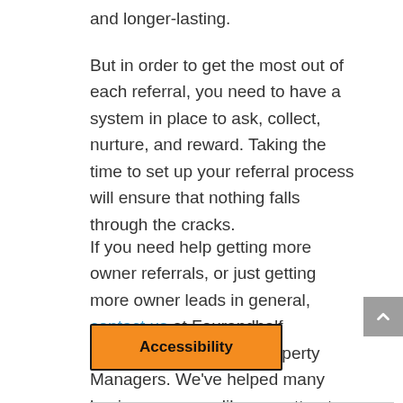and longer-lasting.
But in order to get the most out of each referral, you need to have a system in place to ask, collect, nurture, and reward. Taking the time to set up your referral process will ensure that nothing falls through the cracks.
If you need help getting more owner referrals, or just getting more owner leads in general, contact us at Fourandhalf Marketing Agency for Property Managers. We've helped many business owners like you attract better quality owners online.
Accessibility